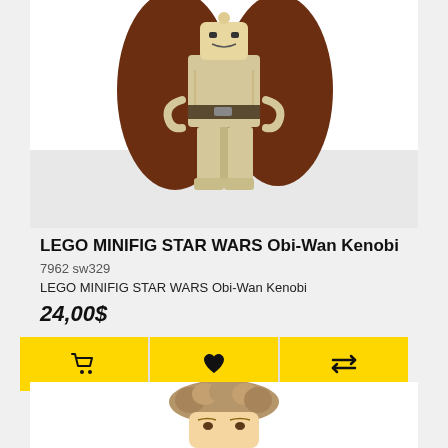[Figure (photo): LEGO minifigure of Obi-Wan Kenobi in tan/beige Jedi robes with dark brown cape, holding arms out, on white background]
LEGO MINIFIG STAR WARS Obi-Wan Kenobi
7962 sw329
LEGO MINIFIG STAR WARS Obi-Wan Kenobi
24,00$
[Figure (photo): LEGO minifigure head/hair piece in dark tan/brown, showing curly/wavy hair, partial face visible]